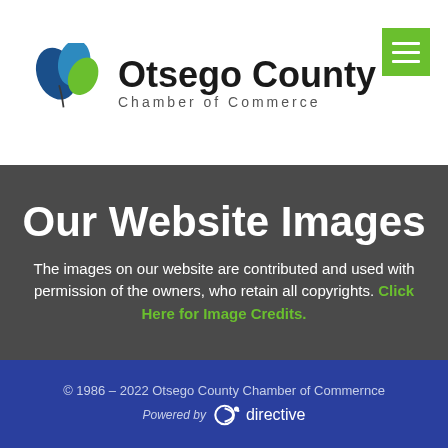[Figure (logo): Otsego County Chamber of Commerce logo with blue and green leaf design]
Our Website Images
The images on our website are contributed and used with permission of the owners, who retain all copyrights. Click Here for Image Credits.
© 1986 – 2022 Otsego County Chamber of Commernce
Powered by directive